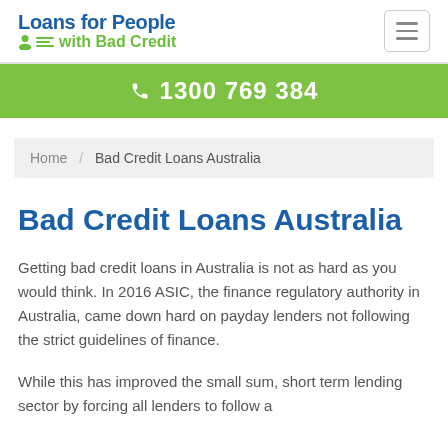[Figure (logo): Loans for People with Bad Credit logo — blue bold text 'Loans for People' with green icon and text 'with Bad Credit']
1300 769 384
Home / Bad Credit Loans Australia
Bad Credit Loans Australia
Getting bad credit loans in Australia is not as hard as you would think. In 2016 ASIC, the finance regulatory authority in Australia, came down hard on payday lenders not following the strict guidelines of finance.
While this has improved the small sum, short term lending sector by forcing all lenders to follow a